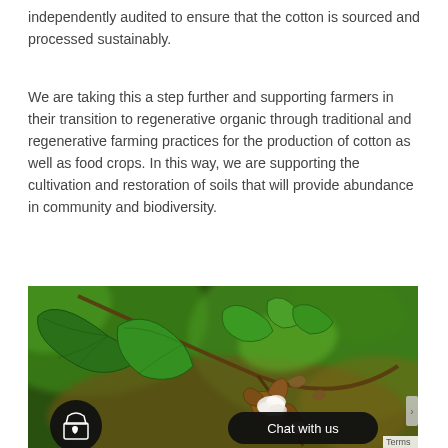independently audited to ensure that the cotton is sourced and processed sustainably.
We are taking this a step further and supporting farmers in their transition to regenerative organic through traditional and regenerative farming practices for the production of cotton as well as food crops. In this way, we are supporting the cultivation and restoration of soils that will provide abundance in community and biodiversity.
[Figure (photo): Close-up photograph of a cotton plant with green leaves and an open cotton boll showing white cotton fibers, with brown dried flower parts. Background is blurred green foliage and brown stems. The image has overlaid UI elements: a black circular shopping bag icon (with heart) on the bottom-left, a black rounded-rectangle 'Chat with us' button on the bottom-right, and a 'Terms' label at bottom-right edge.]